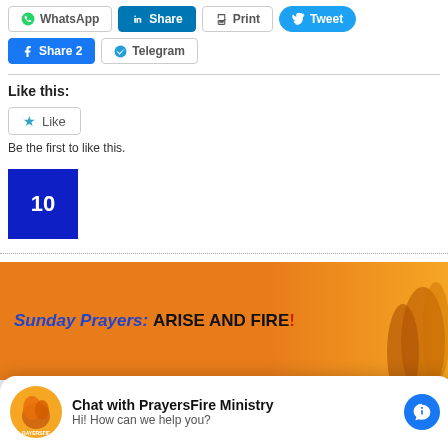[Figure (screenshot): Social share buttons row 1: WhatsApp, LinkedIn Share, Print, Tweet]
[Figure (screenshot): Social share buttons row 2: Facebook Share 2, Telegram]
Like this:
[Figure (other): Like button widget with star icon]
Be the first to like this.
[Figure (other): Blue square with number 10]
[Figure (illustration): Sunday Prayers: ARISE AND FIRE! banner with orange background and hands]
Chat with PrayersFire Ministry
Hi! How can we help you?